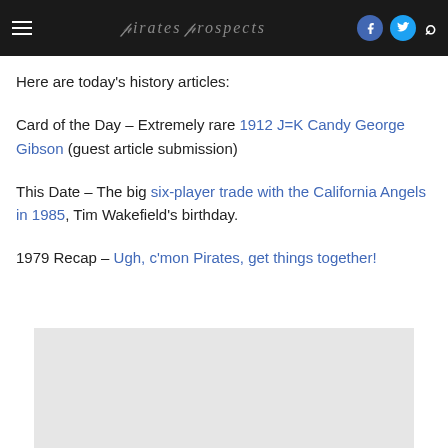Pirates Prospects (site title with hamburger menu, social icons, and search)
Here are today’s history articles:
Card of the Day – Extremely rare 1912 J=K Candy George Gibson (guest article submission)
This Date – The big six-player trade with the California Angels in 1985, Tim Wakefield’s birthday.
1979 Recap – Ugh, c’mon Pirates, get things together!
[Figure (other): Gray advertisement placeholder box at the bottom of the page]